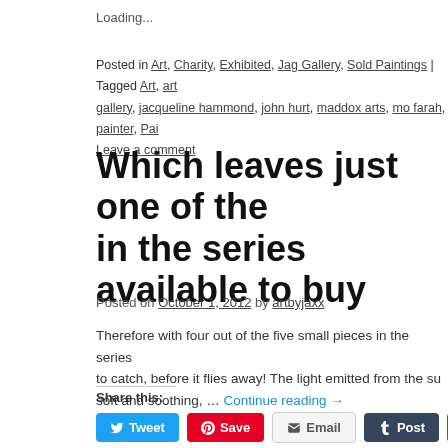Loading...
Posted in Art, Charity, Exhibited, Jag Gallery, Sold Paintings | Tagged Art, art gallery, jacqueline hammond, john hurt, maddox arts, mo farah, painter, Pai… Leave a comment
Which leaves just one of the in the series available to buy
Posted on October 1, 2012 by artbyjaxx
Therefore with four out of the five small pieces in the series to catch, before it flies away! The light emitted from the su soft and soothing, … Continue reading →
Share this:
Tweet  Save  Email  Post  Share